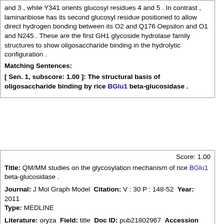and 3 , while Y341 orients glucosyl residues 4 and 5 . In contrast , laminaribiose has its second glucosyl residue positioned to allow direct hydrogen bonding between its O2 and Q176 Oepsilon and O1 and N245 . These are the first GH1 glycoside hydrolase family structures to show oligosaccharide binding in the hydrolytic configuration .
Matching Sentences:
[ Sen. 1, subscore: 1.00 ]: The structural basis of oligosaccharide binding by rice BGlu1 beta-glucosidase .
Score: 1.00
Title: QM/MM studies on the glycosylation mechanism of rice BGlu1 beta-glucosidase .
Journal: J Mol Graph Model Citation: V : 30 P : 148-52 Year: 2011 Type: MEDLINE
Literature: oryza Field: title Doc ID: pub21802967 Accession (PMID): 21802967
Abstract: The quantum-mechanical/molecular-mechanical ( QM/MM ) method was used to study the glycosylation mechanism of rice BGlu1 beta-glucosidase in complex with laminaribiose . The calculation results reveal that the glycosylation step experiences a concerted process from the reactant to the glycosyl-enzyme complex with an activation barrier of 15 . 7 kcal/mol , in which an oxocarbenium cation-like transition state ( TS ) is formed . At the TS , the terminal saccharide residue planarizes toward the half-chair conformation , and the glycosidic bond cleavage is promoted by the attacks of proton donor ( E176 ) on glycosidic oxygen and nucleophilic residue ( E386 ) on the anomeric carbon of laminaribiose . Both the nucleophilic glutamate ( E386 ) and acid/base catalyst ( E176 ) establish shorter hydrogen bridges with the C-hydroxyl groups of sugar ring , which play an important role in the catalytic